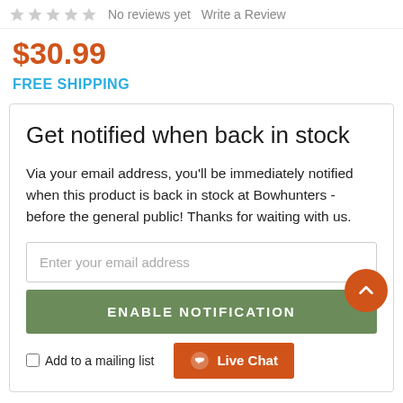No reviews yet   Write a Review
$30.99
FREE SHIPPING
Get notified when back in stock
Via your email address, you'll be immediately notified when this product is back in stock at Bowhunters - before the general public! Thanks for waiting with us.
Enter your email address
ENABLE NOTIFICATION
Add to a mailing list
Live Chat